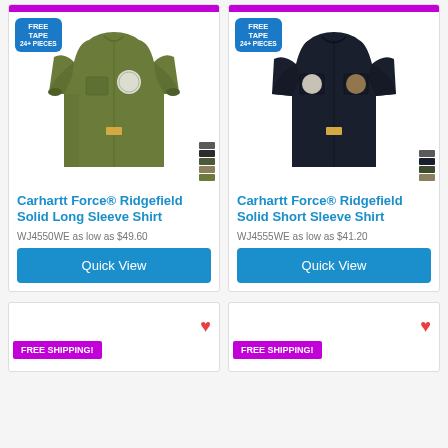[Figure (photo): Carhartt Force Ridgefield Solid Long Sleeve Shirt in olive/green color with logo embroidery and Free Tape badge]
Carhartt Force® Ridgefield Solid Long Sleeve Shirt
WJ4550WE as low as $49.60
Quick View
[Figure (photo): Carhartt Force Ridgefield Solid Short Sleeve Shirt in dark navy/black color with logo embroidery and Free Tape badge]
Carhartt Force® Ridgefield Solid Short Sleeve Shirt
WJ4555WE as low as $41.20
Quick View
FREE SHIPPING!
FREE SHIPPING!